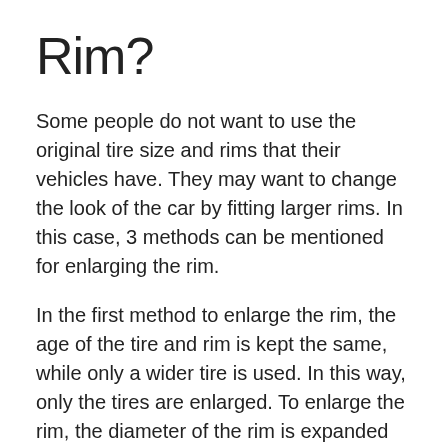Rim?
Some people do not want to use the original tire size and rims that their vehicles have. They may want to change the look of the car by fitting larger rims. In this case, 3 methods can be mentioned for enlarging the rim.
In the first method to enlarge the rim, the age of the tire and rim is kept the same, while only a wider tire is used. In this way, only the tires are enlarged. To enlarge the rim, the diameter of the rim is expanded by 1 inch. As the sidewall gets thinner, the diameter of the tire and rim becomes wider. Finally, the diameter of the rim is expanded by 2 inches. It is not possible to expand more rims than this amount. Otherwise, the service life of the rim decreases, driving safety is lost and too much fuel is